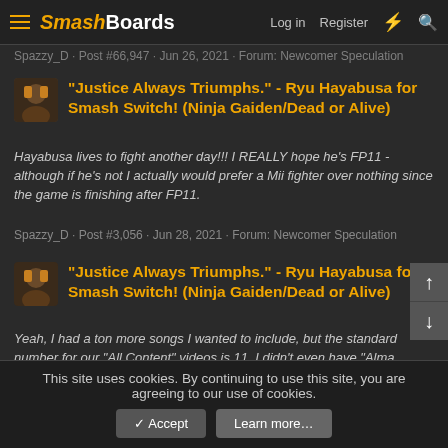SmashBoards — Log in | Register
Spazzy_D · Post #66,947 · Jun 26, 2021 · Forum: Newcomer Speculation
"Justice Always Triumphs." - Ryu Hayabusa for Smash Switch! (Ninja Gaiden/Dead or Alive)
Hayabusa lives to fight another day!!! I REALLY hope he's FP11 - although if he's not I actually would prefer a Mii fighter over nothing since the game is finishing after FP11.
Spazzy_D · Post #3,056 · Jun 28, 2021 · Forum: Newcomer Speculation
"Justice Always Triumphs." - Ryu Hayabusa for Smash Switch! (Ninja Gaiden/Dead or Alive)
Yeah, I had a ton more songs I wanted to include, but the standard number for our "All Content" videos is 11. I didn't even have "Alma Awakened" on that list, even though we used it when showing off the Mii costumes. Speaking of, if I added anothe...
This site uses cookies. By continuing to use this site, you are agreeing to our use of cookies.